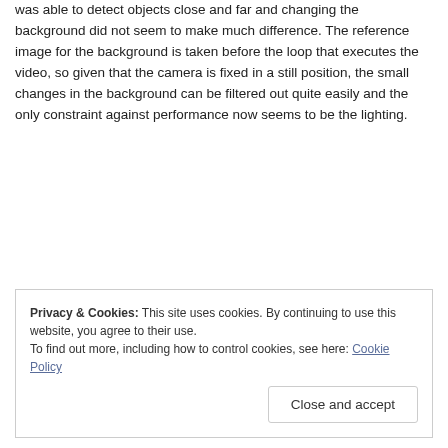was able to detect objects close and far and changing the background did not seem to make much difference. The reference image for the background is taken before the loop that executes the video, so given that the camera is fixed in a still position, the small changes in the background can be filtered out quite easily and the only constraint against performance now seems to be the lighting.
Privacy & Cookies: This site uses cookies. By continuing to use this website, you agree to their use.
To find out more, including how to control cookies, see here: Cookie Policy